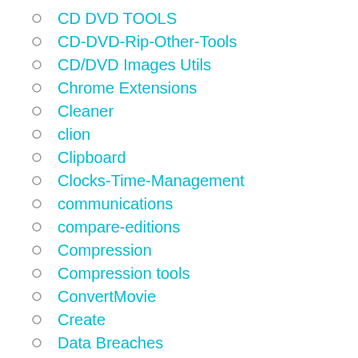CD DVD TOOLS
CD-DVD-Rip-Other-Tools
CD/DVD Images Utils
Chrome Extensions
Cleaner
clion
Clipboard
Clocks-Time-Management
communications
compare-editions
Compression
Compression tools
ConvertMovie
Create
Data Breaches